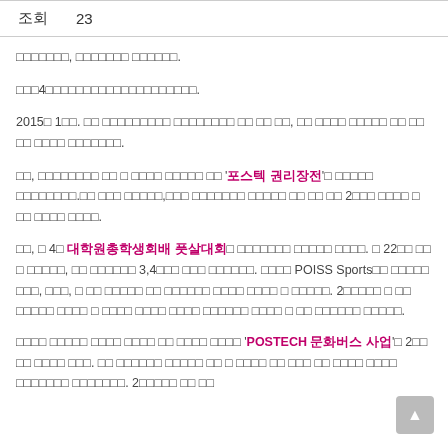| 조회 |  |
| --- | --- |
| 조회 | 23 |
□□□□□□□, □□□□□□□ □□□□□□.
□□□4□□□□□□□□□□□□□□□□□□□□.
2015□ 1□□. □□ □□□□□□□□□ □□□□□□□□ □□ □□ □□, □□ □□□□ □□□□□ □□ □□ □□ □□□□ □□□□□□□.
□□, □□□□□□□□ □□ □ □□□□ □□□□□ □□ '포스텍 권리장전'□ □□□□□ □□□□□□□□.□□ □□□ □□□□□,□□□ □□□□□□□ □□□□□ □□ □□ □□ 2□□□ □□□□ □ □□ □□□□ □□□□.
□□, □ 4□ 대학원총학생회배 풋살대회□ □□□□□□□ □□□□□ □□□□. □ 22□□ □□ □ □□□□□, □□ □□□□□□ 3,4□□□ □□□ □□□□□□. □□□□ POISS Sports□□ □□□□□ □□□, □□□, □ □□ □□□□□ □□ □□□□□□ □□□□ □□□□ □ □□□□□. 2□□□□□ □ □□ □□□□□ □□□□ □ □□□□ □□□□ □□□□ □□□□□□ □□□□ □ □□ □□□□□□ □□□□□.
□□□□ □□□□□ □□□□ □□□□ □□ □□□□ □□□□ 'POSTECH 문화버스 사업'□ 2□□ □□ □□□□ □□□. □□ □□□□□□ □□□□□ □□ □ □□□□ □□ □□□ □□ □□□□ □□□□ □□□□□□□ □□□□□□□. 2□□□□□ □□ □□